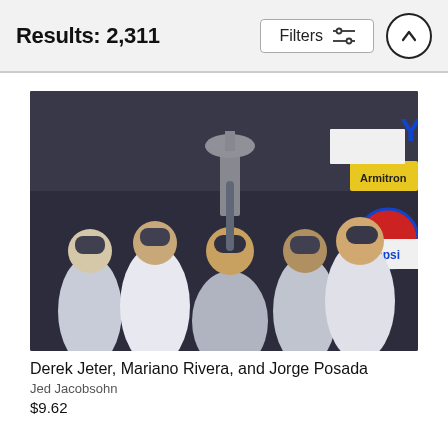Results: 2,311
[Figure (screenshot): Filters button with sliders icon and an up-arrow circle button in the header bar]
[Figure (photo): Derek Jeter, Mariano Rivera, and Jorge Posada celebrating a World Series win, with Jeter holding up the trophy. New York Yankees players in pinstripe uniforms, stadium background with Armitron and Pepsi signage.]
Derek Jeter, Mariano Rivera, and Jorge Posada
Jed Jacobsohn
$9.62